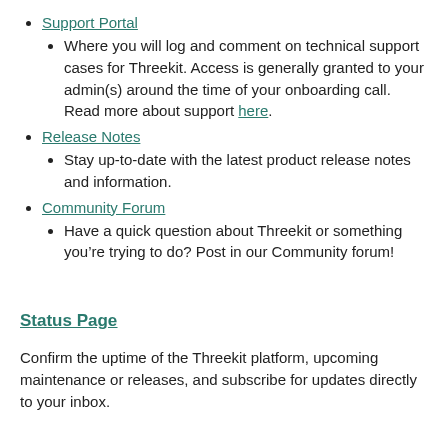Support Portal
Where you will log and comment on technical support cases for Threekit. Access is generally granted to your admin(s) around the time of your onboarding call. Read more about support here.
Release Notes
Stay up-to-date with the latest product release notes and information.
Community Forum
Have a quick question about Threekit or something you’re trying to do? Post in our Community forum!
Status Page
Confirm the uptime of the Threekit platform, upcoming maintenance or releases, and subscribe for updates directly to your inbox.